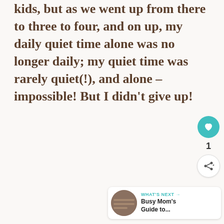kids, but as we went up from there to three to four, and on up, my daily quiet time alone was no longer daily; my quiet time was rarely quiet(!), and alone – impossible! But I didn't give up!
[Figure (other): UI panel with heart/like button (teal circle with heart icon), like count '1', and share button (white circle with share icon)]
[Figure (other): What's Next bar: circular thumbnail image on left, label 'WHAT'S NEXT →' in teal, title 'Busy Mom's Guide to...']